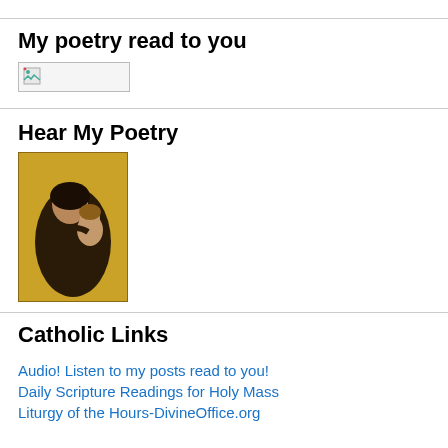My poetry read to you
[Figure (illustration): Broken image placeholder (small rectangle with image icon)]
Hear My Poetry
[Figure (photo): Religious icon painting of the Virgin Mary holding the Christ child, Byzantine style with gold background]
Catholic Links
Audio! Listen to my posts read to you!
Daily Scripture Readings for Holy Mass
Liturgy of the Hours-DivineOffice.org